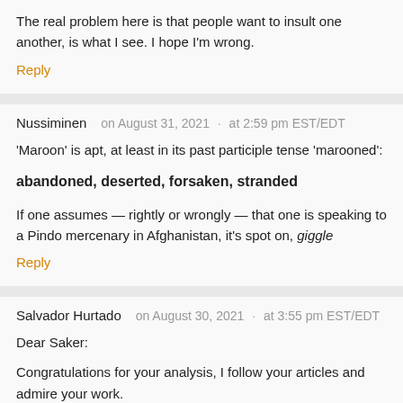The real problem here is that people want to insult one another, is what I see. I hope I'm wrong.
Reply
Nussiminen   on August 31, 2021  ·  at 2:59 pm EST/EDT
'Maroon' is apt, at least in its past participle tense 'marooned':
abandoned, deserted, forsaken, stranded
If one assumes — rightly or wrongly — that one is speaking to a Pindo mercenary in Afghanistan, it's spot on, giggle
Reply
Salvador Hurtado   on August 30, 2021  ·  at 3:55 pm EST/EDT
Dear Saker:
Congratulations for your analysis, I follow your articles and admire your work.
That been said, I saw yesterday an interview on RT (Russia Today) where two afghan women that survived de explosions say